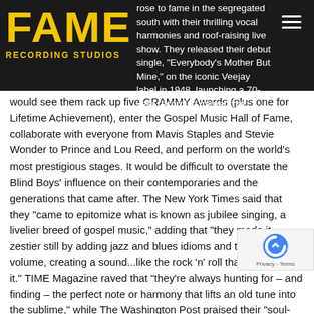FAME RECORDING STUDIOS
rose to fame in the segregated south with their thrilling vocal harmonies and roof-raising live show. They released their debut single, "Everybody's Mother But Mine," on the iconic Veejay label in 1948, launching a 70-year recording career that would see them rack up five GRAMMY Awards (plus one for Lifetime Achievement), enter the Gospel Music Hall of Fame, collaborate with everyone from Mavis Staples and Stevie Wonder to Prince and Lou Reed, and perform on the world's most prestigious stages. It would be difficult to overstate the Blind Boys' influence on their contemporaries and the generations that came after. The New York Times said that they "came to epitomize what is known as jubilee singing, a livelier breed of gospel music," adding that "they made it zestier still by adding jazz and blues idioms and turning up the volume, creating a sound...like the rock 'n' roll that grew out of it." TIME Magazine raved that "they're always hunting for – and finding – the perfect note or harmony that lifts an old tune into the sublime," while The Washington Post praised their "soul-stirring harmonies" and "range of cross-genre collaborations," and The New Yorker simply called them "legendary".
"When the Blind Boys started out, we weren't even thinking about all these accolades and all that stuff," founding member